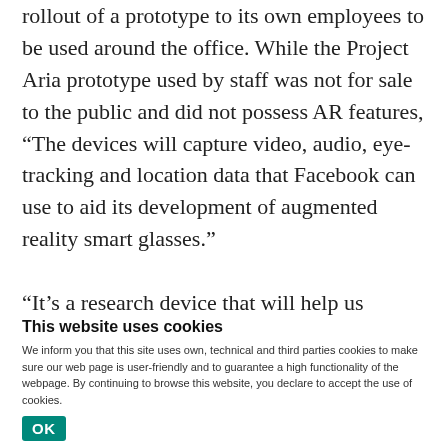rollout of a prototype to its own employees to be used around the office. While the Project Aria prototype used by staff was not for sale to the public and did not possess AR features, “The devices will capture video, audio, eye-tracking and location data that Facebook can use to aid its development of augmented reality smart glasses.”
“It’s a research device that will help us understand how to build the software and hardware necessary for
This website uses cookies
We inform you that this site uses own, technical and third parties cookies to make sure our web page is user-friendly and to guarantee a high functionality of the webpage. By continuing to browse this website, you declare to accept the use of cookies.